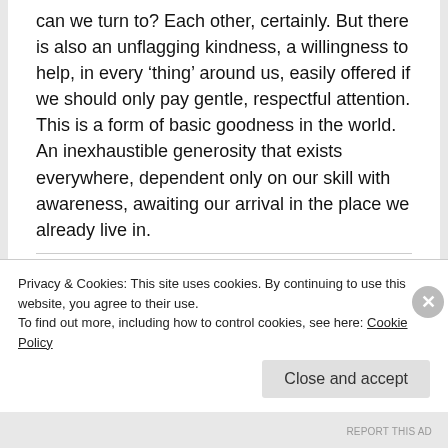can we turn to? Each other, certainly. But there is also an unflagging kindness, a willingness to help, in every ‘thing’ around us, easily offered if we should only pay gentle, respectful attention. This is a form of basic goodness in the world. An inexhaustible generosity that exists everywhere, dependent only on our skill with awareness, awaiting our arrival in the place we already live in.
In some ways this is a companion
Privacy & Cookies: This site uses cookies. By continuing to use this website, you agree to their use.
To find out more, including how to control cookies, see here: Cookie Policy